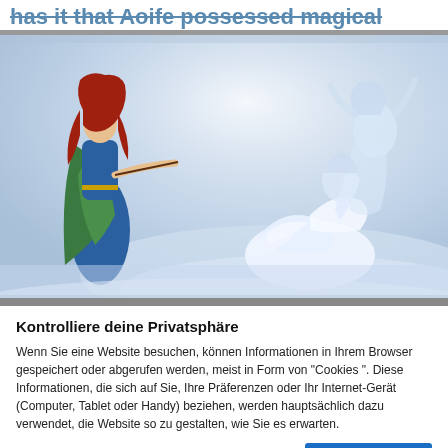has it that Aoife possessed magical powers.
[Figure (illustration): Fantasy illustration showing a red-haired woman in a blue and green robe pointing a wand or staff at three figures that appear to be transforming into swans, with misty blue and white background.]
Kontrolliere deine Privatsphäre
Wenn Sie eine Website besuchen, können Informationen in Ihrem Browser gespeichert oder abgerufen werden, meist in Form von "Cookies ". Diese Informationen, die sich auf Sie, Ihre Präferenzen oder Ihr Internet-Gerät (Computer, Tablet oder Handy) beziehen, werden hauptsächlich dazu verwendet, die Website so zu gestalten, wie Sie es erwarten.
Mehr Info   Akzeptiere alle